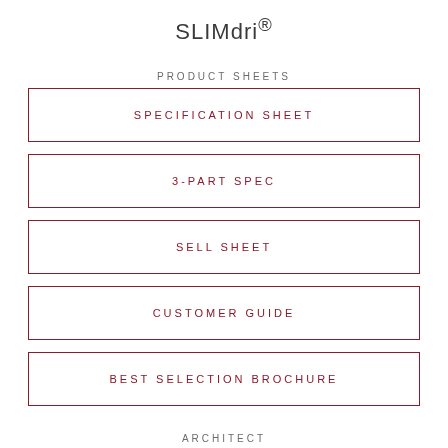SLIMdri®
PRODUCT SHEETS
SPECIFICATION SHEET
3-PART SPEC
SELL SHEET
CUSTOMER GUIDE
BEST SELECTION BROCHURE
ARCHITECT
CAD